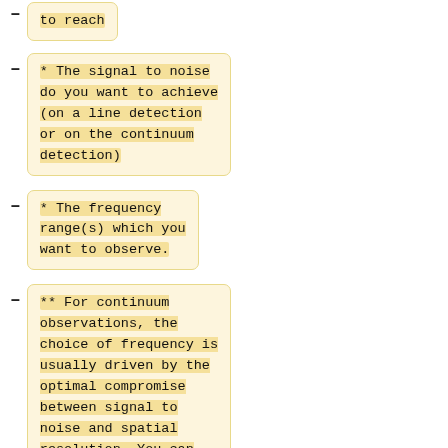to reach
* The signal to noise do you want to achieve (on a line detection or on the continuum detection)
* The frequency range(s) which you want to observe.
** For continuum observations, the choice of frequency is usually driven by the optimal compromise between signal to noise and spatial resolution. You can play with the continuum reference